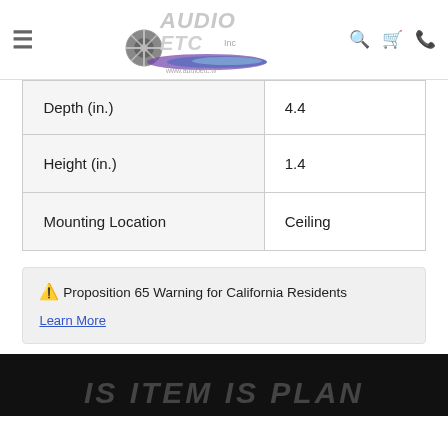Audio ETC logo navigation header
| Depth (in.) | 4.4 |
| Height (in.) | 1.4 |
| Mounting Location | Ceiling |
⚠ Proposition 65 Warning for California Residents
Learn More